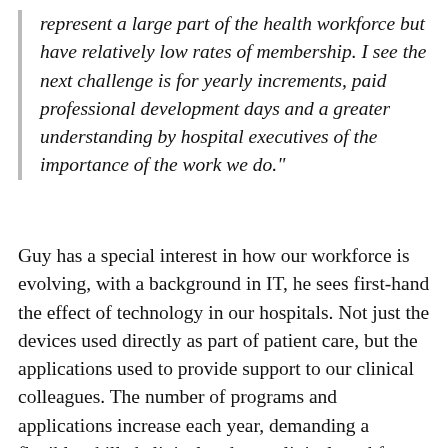represent a large part of the health workforce but have relatively low rates of membership. I see the next challenge is for yearly increments, paid professional development days and a greater understanding by hospital executives of the importance of the work we do."
Guy has a special interest in how our workforce is evolving, with a background in IT, he sees first-hand the effect of technology in our hospitals. Not just the devices used directly as part of patient care, but the applications used to provide support to our clinical colleagues. The number of programs and applications increase each year, demanding a flexible, skilled clinical and non-clinical workforce. Training is n... for many of these tasks, some is provided but t... a need for a lot more.